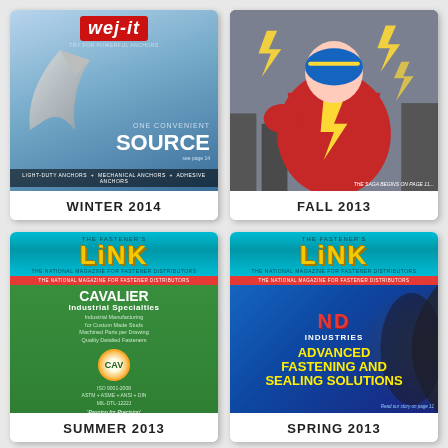[Figure (illustration): Cover of The Fastener Link magazine - Winter 2014 issue, featuring wej-it brand anchors with blue background, silver arrow graphic, red wej-it logo, 'One Convenient Source' text, and bottom bar reading 'Light-Duty Anchors + Mechanical Anchors + Adhesive Anchors']
WINTER 2014
[Figure (illustration): Cover of The Fastener Link magazine - Fall 2013 issue, featuring a superhero character with lightning bolt motif in red, yellow and blue costume, text 'The saga begins on page 11...']
FALL 2013
[Figure (illustration): Cover of The Fastener Link magazine - Summer 2013 issue, featuring Cavalier Industrial Specialties advertisement with green background, CAV logo circle, text about Industrial Manufacturing for Custom Made Studs, Machined Parts per Drawing, Quality Detailed Fasteners, ISO 9001-2008, ASTM + ASME + ANSI + DIN, MIL-DTL-1222J, 'Passion for Precision', www.GoCAV.com]
SUMMER 2013
[Figure (illustration): Cover of The Fastener Link magazine - Spring 2013 issue, featuring ND Industries with blue/dark background, red ND logo, text 'Advanced Fastening and Sealing Solutions', 'Read our story on page 11']
SPRING 2013